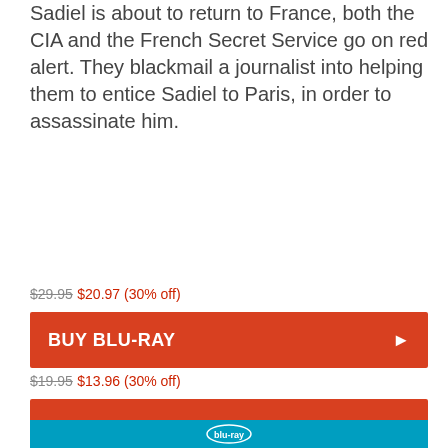Sadiel is about to return to France, both the CIA and the French Secret Service go on red alert. They blackmail a journalist into helping them to entice Sadiel to Paris, in order to assassinate him.
$29.95 $20.97 (30% off)
BUY BLU-RAY
$19.95 $13.96 (30% off)
BUY DVD
[Figure (logo): Blu-ray logo bar at bottom of page]